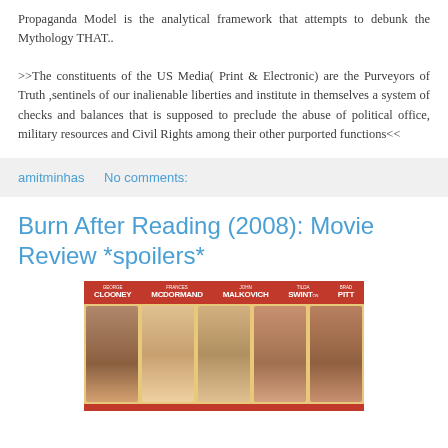Propaganda Model is the analytical framework that attempts to debunk the Mythology THAT..
>>The constituents of the US Media( Print & Electronic) are the Purveyors of Truth ,sentinels of our inalienable liberties and institute in themselves a system of checks and balances that is supposed to preclude the abuse of political office, military resources and Civil Rights among their other purported functions<<
amitminhas   No comments:
Burn After Reading (2008): Movie Review *spoilers*
[Figure (photo): Movie poster for Burn After Reading (2008) featuring cast names: George Clooney, Frances McDormand, John Malkovich, Tilda Swinton, and Brad Pitt on a red banner, with actors' faces below on a yellow background.]